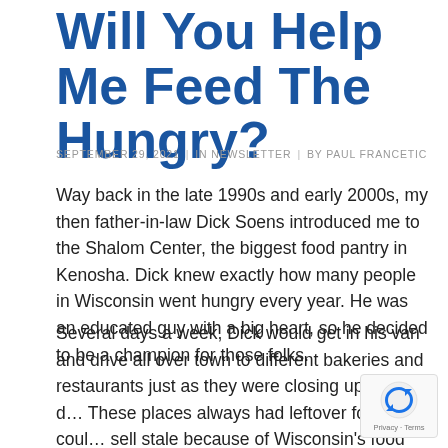Will You Help Me Feed The Hungry?
SEPTEMBER 29, 2021  |  IN NEWSLETTER  |  BY PAUL FRANCETIC
Way back in the late 1990s and early 2000s, my then father-in-law Dick Soens introduced me to the Shalom Center, the biggest food pantry in Kenosha. Dick knew exactly how many people in Wisconsin went hungry every year. He was an educated guy with a big heart, so he decided to be a champion for those folks.
Several days a week, Dick would get in his van and drive all over town to different bakeries and restaurants just as they were closing up for the d… These places always had leftover food they coul… sell stale because of Wisconsin's food regulations…
[Figure (other): reCAPTCHA privacy widget in bottom-right corner]